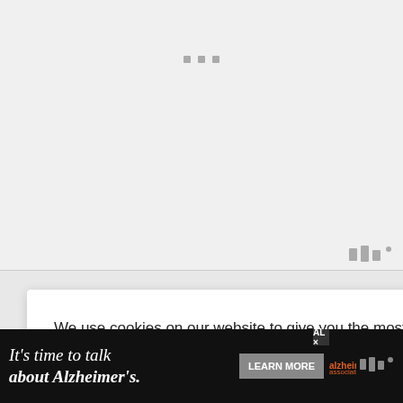[Figure (screenshot): Top grey placeholder area with three small grey squares/dots centered near the top]
We use cookies on our website to give you the most relevant experience by remembering your preferences and repeat visits. By clicking “ACCEPT ALL”, you consent to the use of ALL the cookies. However, you may visit “Cookie Settings” to provide a controlled consent.
Cookie Settings   REJECT ALL
ACCEPT ALL
cucumber, pers, onion, t only iety of tast akes this oint, as it oohydrates,
459
It’s time to talk about Alzheimer’s.
LEARN MORE